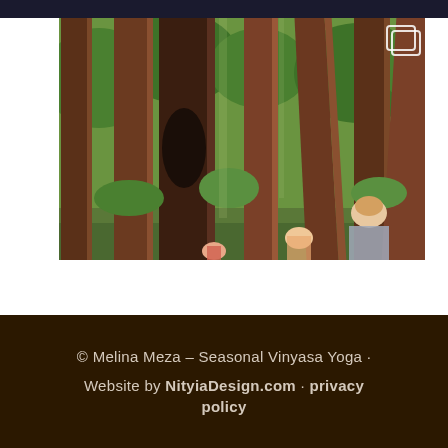[Figure (photo): Photograph of tall redwood/cedar trees in a green forest with three women walking among them. The scene shows large brown tree trunks reaching upward with lush green foliage. A small gallery/multiple-images icon appears in the upper right corner of the photo.]
© Melina Meza - Seasonal Vinyasa Yoga · Website by NityiaDesign.com · privacy policy